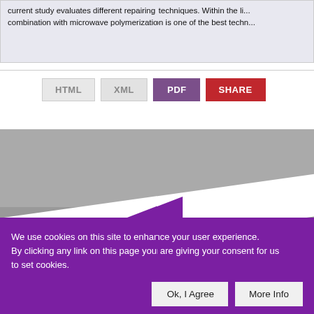current study evaluates different repairing techniques. Within the li... combination with microwave polymerization is one of the best techn...
HTML  XML  PDF  SHARE
[Figure (illustration): Website banner with gray upper area, white diagonal sweep, purple triangle shape, and gray lower section]
We use cookies on this site to enhance your user experience. By clicking any link on this page you are giving your consent for us to set cookies.
Ok, I Agree    More Info